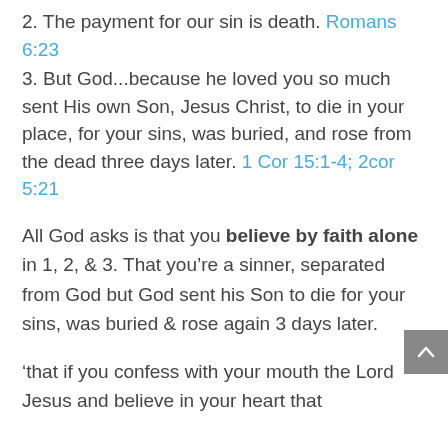2. The payment for our sin is death. Romans 6:23
3. But God...because he loved you so much sent His own Son, Jesus Christ, to die in your place, for your sins, was buried, and rose from the dead three days later. 1 Cor 15:1-4; 2cor 5:21
All God asks is that you believe by faith alone in 1, 2, & 3. That you’re a sinner, separated from God but God sent his Son to die for your sins, was buried & rose again 3 days later.
‘that if you confess with your mouth the Lord Jesus and believe in your heart that